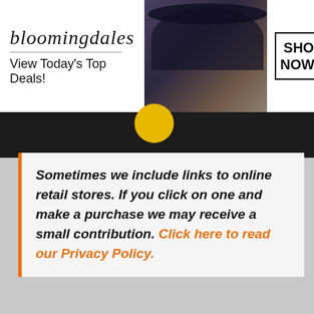[Figure (screenshot): Bloomingdales advertisement banner with logo, 'View Today's Top Deals!' tagline, fashion model with hat, and 'SHOP NOW >' button]
Sometimes we include links to online retail stores. If you click on one and make a purchase we may receive a small contribution. Click here to read our Privacy Policy.
Privacy & Cookies: This site uses cookies. By continuing to use this website,